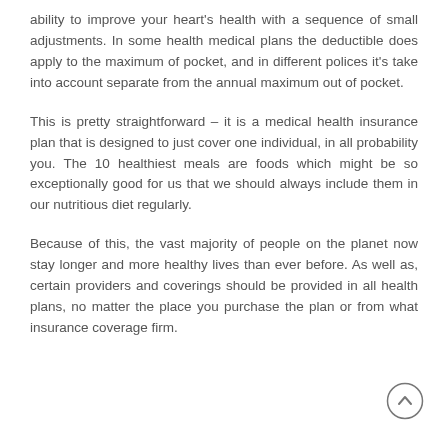ability to improve your heart’s health with a sequence of small adjustments. In some health medical plans the deductible does apply to the maximum of pocket, and in different polices it’s take into account separate from the annual maximum out of pocket.
This is pretty straightforward – it is a medical health insurance plan that is designed to just cover one individual, in all probability you. The 10 healthiest meals are foods which might be so exceptionally good for us that we should always include them in our nutritious diet regularly.
Because of this, the vast majority of people on the planet now stay longer and more healthy lives than ever before. As well as, certain providers and coverings should be provided in all health plans, no matter the place you purchase the plan or from what insurance coverage firm.
[Figure (other): Back to top button - circular arrow icon]